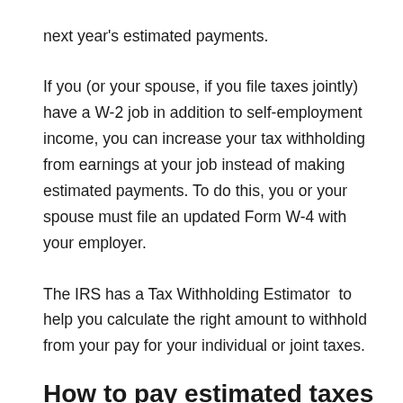next year's estimated payments.
If you (or your spouse, if you file taxes jointly) have a W-2 job in addition to self-employment income, you can increase your tax withholding from earnings at your job instead of making estimated payments. To do this, you or your spouse must file an updated Form W-4 with your employer.
The IRS has a Tax Withholding Estimator  to help you calculate the right amount to withhold from your pay for your individual or joint taxes.
How to pay estimated taxes
To figure and pay your estimated taxes, use Form 1040-